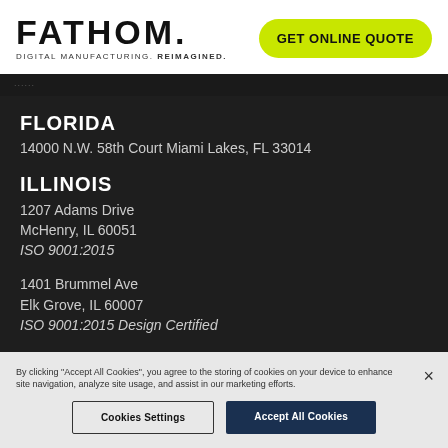[Figure (logo): FATHOM logo with tagline DIGITAL MANUFACTURING. REIMAGINED.]
GET ONLINE QUOTE
FLORIDA
14000 N.W. 58th Court Miami Lakes, FL 33014
ILLINOIS
1207 Adams Drive
McHenry, IL 60051
ISO 9001:2015
1401 Brummel Ave
Elk Grove, IL 60007
ISO 9001:2015 Design Certified
MINNESOTA
By clicking "Accept All Cookies", you agree to the storing of cookies on your device to enhance site navigation, analyze site usage, and assist in our marketing efforts.
Cookies Settings
Accept All Cookies